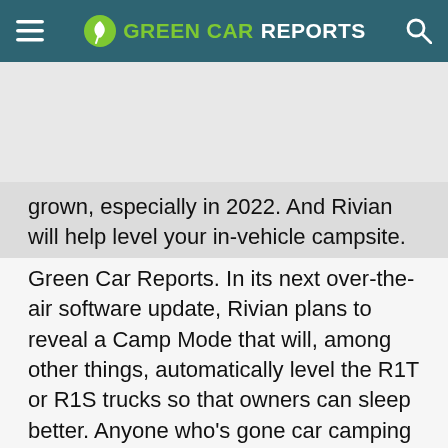GREEN CAR REPORTS
grown, especially in 2022. And Rivian will help level your in-vehicle campsite. This and more, here at Green Car Reports. In its next over-the-air software update, Rivian plans to reveal a Camp Mode that will, among other things, automatically level the R1T or R1S trucks so that owners can sleep better. Anyone who’s gone car camping in the mountains is going to appreciate this one. According to a roundup from the U.S. Department of Energy,